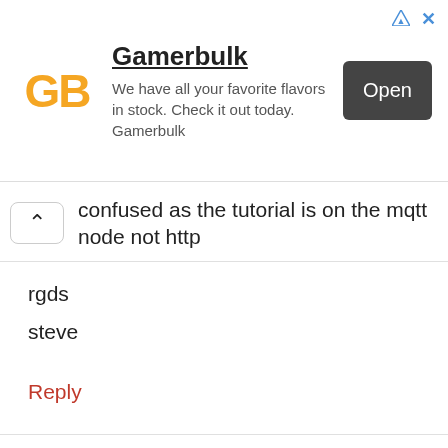[Figure (other): Gamerbulk advertisement banner with orange GB logo, title 'Gamerbulk', description text, and an 'Open' button]
confused as the tutorial is on the mqtt node not http
rgds
steve
Reply
We use cookies on our website to give you the most relevant experience by remembering your preferences and repeat visits. By clicking “Accept All”, you consent to the use of ALL the cookies. However, you may visit "Cookie Settings" to provide a controlled consent.